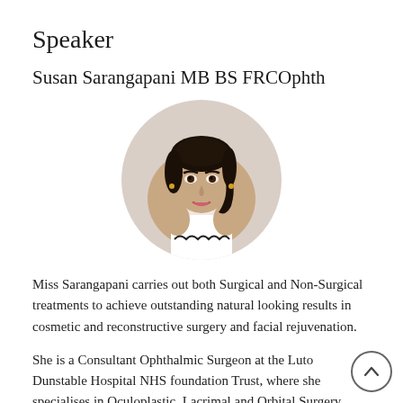Speaker
Susan Sarangapani MB BS FRCOphth
[Figure (photo): Circular portrait photo of Susan Sarangapani, a woman wearing a white sleeveless top, smiling, with dark hair pulled back, against a light grey background.]
Miss Sarangapani carries out both Surgical and Non-Surgical treatments to achieve outstanding natural looking results in cosmetic and reconstructive surgery and facial rejuvenation.
She is a Consultant Ophthalmic Surgeon at the Luton and Dunstable Hospital NHS foundation Trust, where she specialises in Oculoplastic, Lacrimal and Orbital Surgery